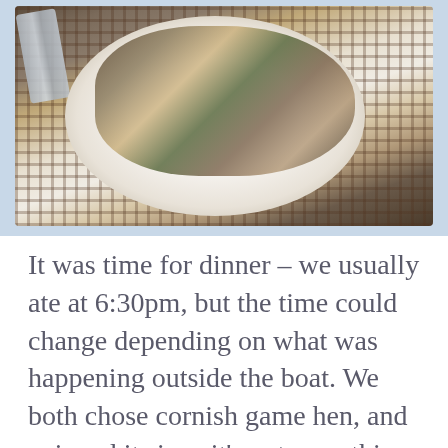[Figure (photo): A white round plate with Cornish game hen and roasted vegetables including greens, yellow squash, and dark olives, served on a woven placemat with silverware visible on the left.]
It was time for dinner – we usually ate at 6:30pm, but the time could change depending on what was happening outside the boat. We both chose cornish game hen, and enjoyed it since it’s not something we have often at home.  Rock Fish was the non-